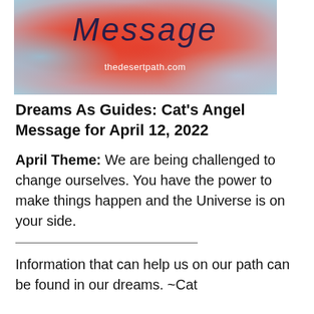[Figure (photo): Decorative header image with abstract red/orange blurred floral or angelic imagery on a light blue background, with cursive text 'Message' in dark blue at the top and 'thedesertpath.com' in white text overlaid.]
Dreams As Guides: Cat's Angel Message for April 12, 2022
April Theme: We are being challenged to change ourselves. You have the power to make things happen and the Universe is on your side.
Information that can help us on our path can be found in our dreams. ~Cat